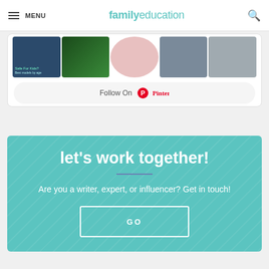MENU | familyeducation
[Figure (photo): Pinterest image thumbnails showing various family/education topics]
Follow On Pinterest
let's work together!
Are you a writer, expert, or influencer? Get in touch!
GO